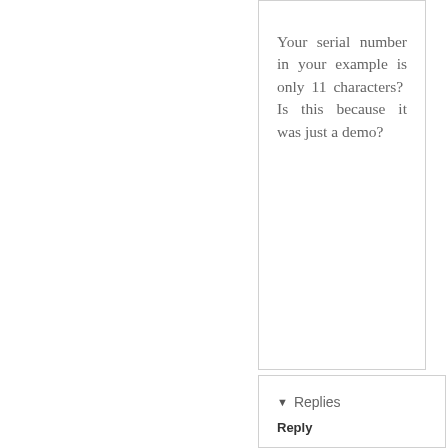Your serial number in your example is only 11 characters? Is this because it was just a demo?
▾ Replies
Reply